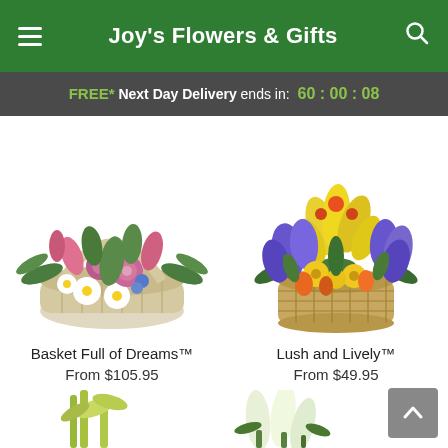Joy's Flowers & Gifts
FREE* Next Day Delivery ends in: 60 : 00 : 08
[Figure (photo): Basket Full of Dreams flower arrangement in white wicker basket with pink lilies, roses, and white daisies]
Basket Full of Dreams™
From $105.95
[Figure (photo): Lush and Lively flower arrangement in brown wicker basket with yellow lilies, blue irises, and yellow daisies]
Lush and Lively™
From $49.95
[Figure (photo): Partial view of a flower arrangement at the bottom left, showing yellow-green stems]
[Figure (photo): Partial view of a flower arrangement at the bottom right, showing white lily buds]